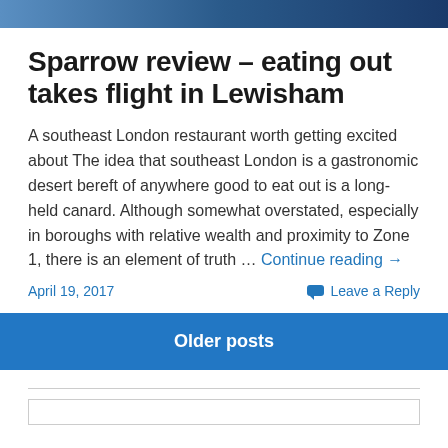[Figure (photo): Partial photo strip at top of page, showing a blue/dark toned image]
Sparrow review – eating out takes flight in Lewisham
A southeast London restaurant worth getting excited about The idea that southeast London is a gastronomic desert bereft of anywhere good to eat out is a long-held canard. Although somewhat overstated, especially in boroughs with relative wealth and proximity to Zone 1, there is an element of truth … Continue reading →
April 19, 2017    Leave a Reply
Older posts